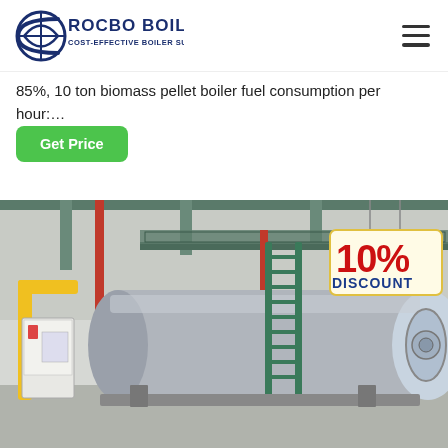ROCBO BOILER — COST-EFFECTIVE BOILER SUPPLIER
85%, 10 ton biomass pellet boiler fuel consumption per hour:…
Get Price
[Figure (photo): Industrial boiler unit in a warehouse-style facility with yellow piping on the left, a large cylindrical gray boiler in the center-right, green metal staircase, and a '10% DISCOUNT' promotional tag in the top-right corner of the image.]